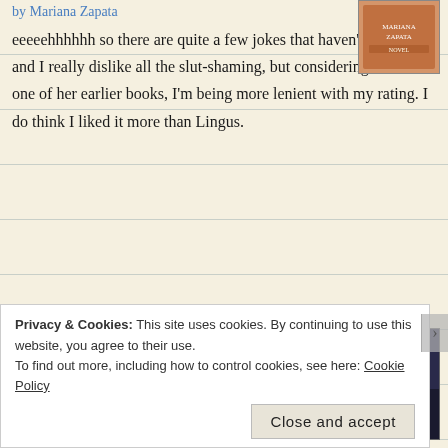by Mariana Zapata
eeeeehhhhhh so there are quite a few jokes that haven't aged well and I really dislike all the slut-shaming, but considering this is one of her earlier books, I'm being more lenient with my rating. I do think I liked it more than Lingus.
Rebel Seoul
by Axie Oh
[Figure (photo): Book cover of a Mariana Zapata novel, showing a decorative cover with her name]
[Figure (photo): Book cover of Rebel Seoul by Axie Oh, showing a dark urban street scene with a gold medal sticker]
I picked this book up because I have unnatural love for Pacific Rim and used to be a raging K-pop fangirl. A mix of the two was something I had to read about. I found this to be a fascinating book. I think it begs the question of what ...
Privacy & Cookies: This site uses cookies. By continuing to use this website, you agree to their use.
To find out more, including how to control cookies, see here: Cookie Policy
Close and accept